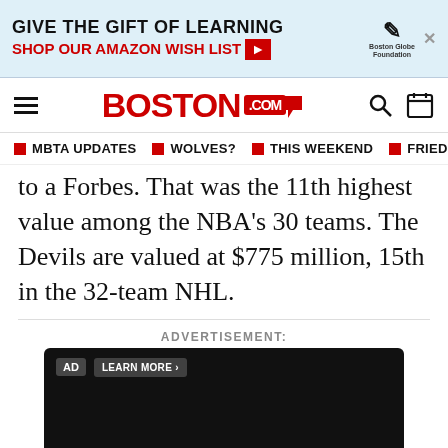[Figure (screenshot): Advertisement banner: GIVE THE GIFT OF LEARNING / SHOP OUR AMAZON WISH LIST with Boston Globe Foundation logo]
BOSTON.com navigation bar with hamburger menu, Boston.com logo, search and calendar icons
MBTA UPDATES | WOLVES? | THIS WEEKEND | FRIED CLAMS
to a Forbes. That was the 11th highest value among the NBA's 30 teams. The Devils are valued at $775 million, 15th in the 32-team NHL.
ADVERTISEMENT:
[Figure (screenshot): Video player with AD badge and LEARN MORE button at top, play button and speaker/CC controls at bottom, black background]